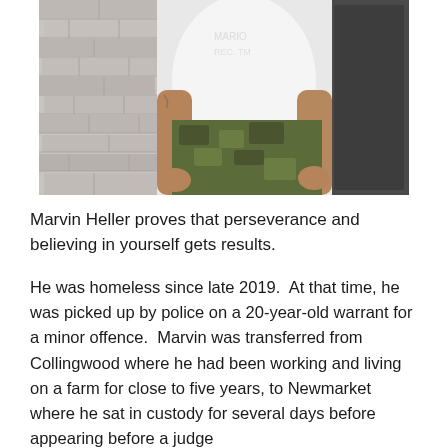[Figure (photo): Photo showing the torso and lower body of a person wearing a white t-shirt and camouflage shorts, standing in front of a brick wall near a door.]
Marvin Heller proves that perseverance and believing in yourself gets results.
He was homeless since late 2019.  At that time, he was picked up by police on a 20-year-old warrant for a minor offence.  Marvin was transferred from Collingwood where he had been working and living on a farm for close to five years, to Newmarket where he sat in custody for several days before appearing before a judge